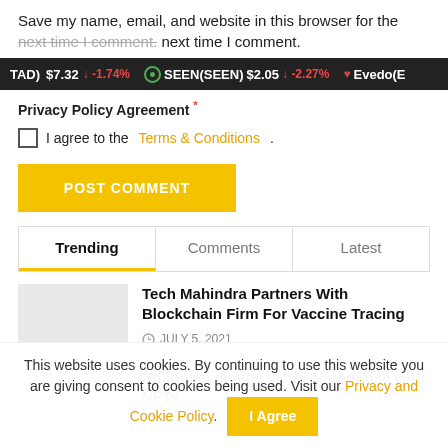Save my name, email, and website in this browser for the next time I comment.
[Figure (screenshot): Cryptocurrency ticker bar showing TAD $7.32 -1.74%, SEEN(SEEN) $2.05 -2.27%, Evedo(E...]
Privacy Policy Agreement *
I agree to the Terms & Conditions .
POST COMMENT
Trending | Comments | Latest
Tech Mahindra Partners With Blockchain Firm For Vaccine Tracing
JULY 5, 2021
Ethiopian famine victims fundraise with NFTs
This website uses cookies. By continuing to use this website you are giving consent to cookies being used. Visit our Privacy and Cookie Policy.